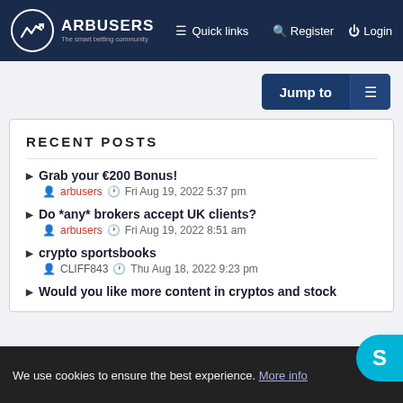ARBUSERS — The smart betting community | Quick links | Register | Login
Jump to
RECENT POSTS
Grab your €200 Bonus! — arbusers — Fri Aug 19, 2022 5:37 pm
Do *any* brokers accept UK clients? — arbusers — Fri Aug 19, 2022 8:51 am
crypto sportsbooks — CLIFF843 — Thu Aug 18, 2022 9:23 pm
Would you like more content in cryptos and stock
We use cookies to ensure the best experience. More info
Got it!